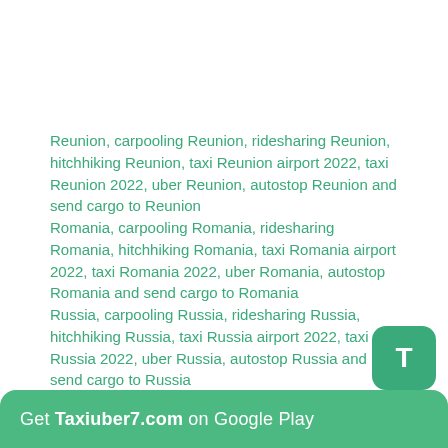Reunion, carpooling Reunion, ridesharing Reunion, hitchhiking Reunion, taxi Reunion airport 2022, taxi Reunion 2022, uber Reunion, autostop Reunion and send cargo to Reunion
Romania, carpooling Romania, ridesharing Romania, hitchhiking Romania, taxi Romania airport 2022, taxi Romania 2022, uber Romania, autostop Romania and send cargo to Romania
Russia, carpooling Russia, ridesharing Russia, hitchhiking Russia, taxi Russia airport 2022, taxi Russia 2022, uber Russia, autostop Russia and send cargo to Russia
Rwanda, carpooling Rwanda, ridesharing Rwanda, hitchhiking Rwanda, taxi Rwanda airport 2022, taxi Rwanda 2022, uber Rwanda, autostop Rwanda and send cargo to Rwanda
Get Taxiuber7.com on Google Play